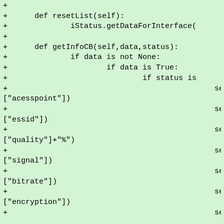+
+      def resetList(self):
+              iStatus.getDataForInterface(
+
+      def getInfoCB(self,data,status):
+              if data is not None:
+                      if data is True:
+                              if status is
+                                              self
["acesspoint"])
+                                              self
["essid"])
+                                              self
["quality"]+"%")
+                                              self
["signal"])
+                                              self
["bitrate"])
+                                              self
["encryption"])
+                                              self